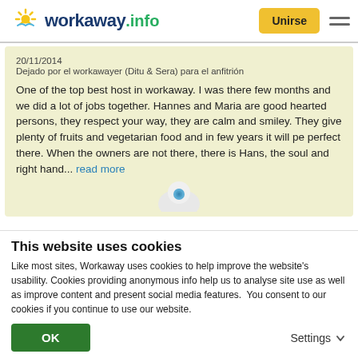workaway.info — Unirse
20/11/2014
Dejado por el workawayer (Ditu & Sera) para el anfitrión
One of the top best host in workaway. I was there few months and we did a lot of jobs together. Hannes and Maria are good hearted persons, they respect your way, they are calm and smiley. They give plenty of fruits and vegetarian food and in few years it will pe perfect there. When the owners are not there, there is Hans, the soul and right hand... read more
This website uses cookies
Like most sites, Workaway uses cookies to help improve the website's usability. Cookies providing anonymous info help us to analyse site use as well as improve content and present social media features.  You consent to our cookies if you continue to use our website.
OK    Settings